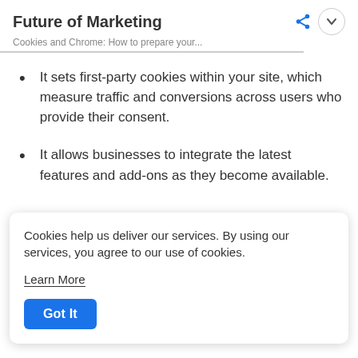Future of Marketing
Cookies and Chrome: How to prepare your...
It sets first-party cookies within your site, which measure traffic and conversions across users who provide their consent.
It allows businesses to integrate the latest features and add-ons as they become available.
Cookies help us deliver our services. By using our services, you agree to our use of cookies.
Learn More
Got It